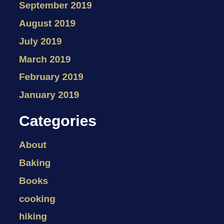September 2019
August 2019
July 2019
March 2019
February 2019
January 2019
Categories
About
Baking
Books
cooking
hiking
Movies
My 500 Words
photography
Professional
reading challenge 2019